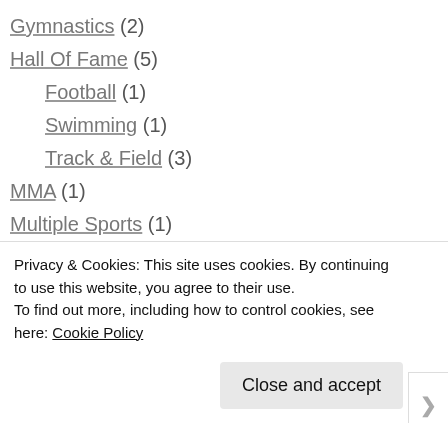Gymnastics (2)
Hall Of Fame (5)
Football (1)
Swimming (1)
Track & Field (3)
MMA (1)
Multiple Sports (1)
Music (3)
NBA (43)
2014-15 Season (12)
2015-16 Season (4)
General (4)
Records, Awards, Statistics (23)
Privacy & Cookies: This site uses cookies. By continuing to use this website, you agree to their use.
To find out more, including how to control cookies, see here: Cookie Policy
Close and accept